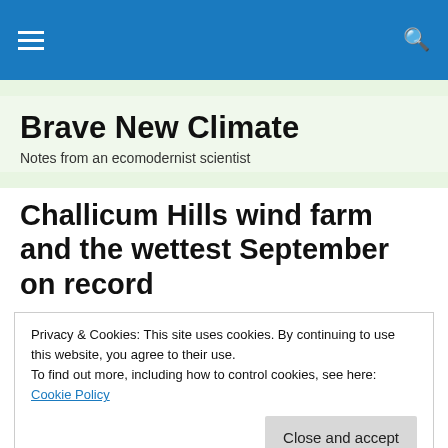Brave New Climate — Notes from an ecomodernist scientist
Brave New Climate
Notes from an ecomodernist scientist
Challicum Hills wind farm and the wettest September on record
Privacy & Cookies: This site uses cookies. By continuing to use this website, you agree to their use.
To find out more, including how to control cookies, see here: Cookie Policy
Close and accept
parents and my two boys, Billy and Eddy, aged 11 and 8)